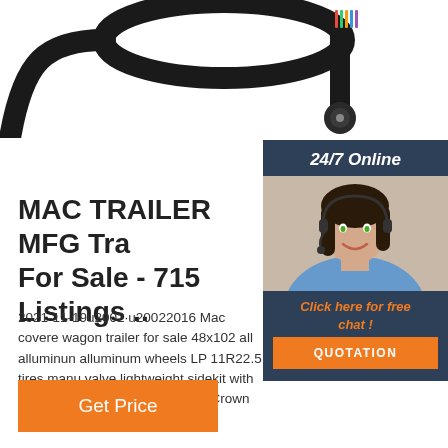[Figure (photo): Product image of trailer wiring harness / cable with circular connector, shown on white background, cropped at top of page]
MAC TRAILER MFG Tra For Sale - 715 Listings ..
2021-11-19u2002·u20022016 Mac covered wagon trailer for sale 48x102 all alluminum alluminum wheels LP 11R22.5 tires,manu valve lightweight sidekit with 36' arch Sold Boban Gorgievski Crown Point, Indiana 46
[Figure (infographic): Sidebar widget with dark blue background showing '24/7 Online' header, photo of woman with headset smiling, 'Click here for free chat!' text in orange, and orange QUOTATION button]
Get Price